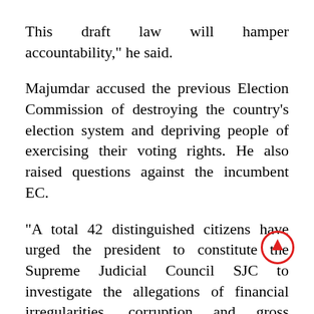This draft law will hamper accountability," he said.
Majumdar accused the previous Election Commission of destroying the country's election system and depriving people of exercising their voting rights. He also raised questions against the incumbent EC.
"A total 42 distinguished citizens have urged the president to constitute the Supreme Judicial Council SJC to investigate the allegations of financial irregularities, corruption and gross election-related misconduct against the present Election Commission. But once the draft law is passed, none can raise any question against it,"